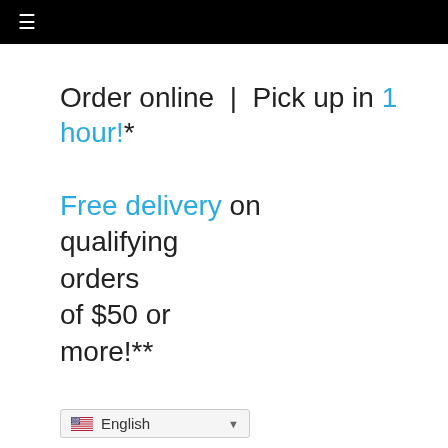≡
Order online | Pick up in 1 hour!*
Free delivery on qualifying orders of $50 or more!**
English